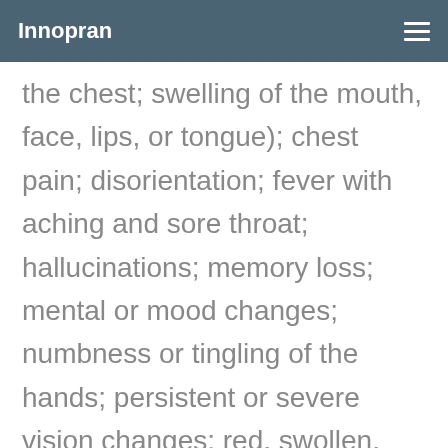Innopran
the chest; swelling of the mouth, face, lips, or tongue); chest pain; disorientation; fever with aching and sore throat; hallucinations; memory loss; mental or mood changes; numbness or tingling of the hands; persistent or severe vision changes; red, swollen, blistered, or peeling skin; severe dizziness; lack of breath or wheezing; sudden, unusual fat gain; swelling of the hands, ankles, or feet; unusual bruising; unusually slow heartbeat; very cold or blue fi...